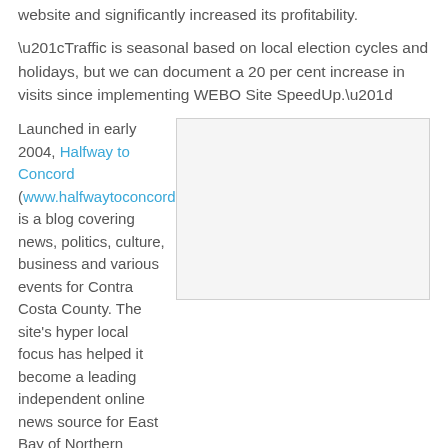website and significantly increased its profitability.
“Traffic is seasonal based on local election cycles and holidays, but we can document a 20 per cent increase in visits since implementing WEBO Site SpeedUp.”
Launched in early 2004, Halfway to Concord (www.halfwaytoconcord.com) is a blog covering news, politics, culture, business and various events for Contra Costa County. The site’s hyper local focus has helped it become a leading independent online news source for East Bay of Northern California, USA.
[Figure (photo): Placeholder image box, white/light gray background with border]
Halfway to Concord has more than 12k unique visitors